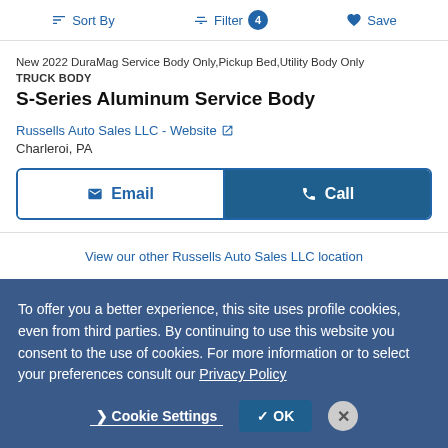Sort By  Filter 4  Save
New 2022 DuraMag Service Body Only,Pickup Bed,Utility Body Only
TRUCK BODY
S-Series Aluminum Service Body
Russells Auto Sales LLC - Website
Charleroi, PA
Email  Call
View our other Russells Auto Sales LLC location
To offer you a better experience, this site uses profile cookies, even from third parties. By continuing to use this website you consent to the use of cookies. For more information or to select your preferences consult our Privacy Policy
Cookie Settings  OK